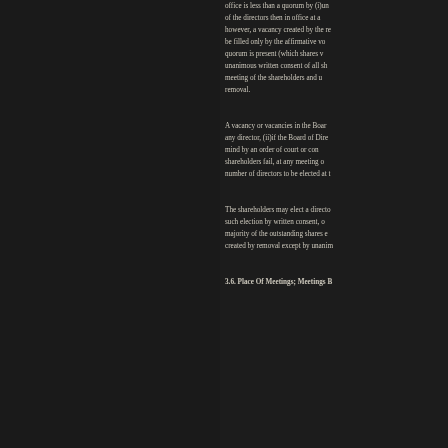office is less than a quorum by (i)un of the directors then in office at a however, a vacancy created by the re be filled only by the affirmative vo quorum is present (which shares v unanimous written consent of all sh meeting of the shareholders and u removal.
A vacancy or vacancies in the Boar any director, (ii)if the Board of Dire mind by an order of court or con shareholders fail, at any meeting o number of directors to be elected at t
The shareholders may elect a directo such election by written consent, o majority of the outstanding shares e created by removal except by unanim
3.6. Place Of Meetings; Meetings B